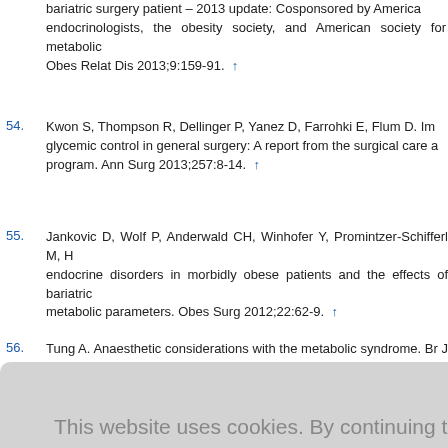bariatric surgery patient – 2013 update: Cosponsored by American endocrinologists, the obesity society, and American society for metabolic Obes Relat Dis 2013;9:159-91. ↑
54. Kwon S, Thompson R, Dellinger P, Yanez D, Farrohki E, Flum D. Improved glycemic control in general surgery: A report from the surgical care a program. Ann Surg 2013;257:8-14. ↑
55. Jankovic D, Wolf P, Anderwald CH, Winhofer Y, Promintzer-Schifferl M, H endocrine disorders in morbidly obese patients and the effects of bariatric metabolic parameters. Obes Surg 2012;22:62-9. ↑
56. Tung A. Anaesthetic considerations with the metabolic syndrome. Br J Ana
[Figure (screenshot): Cookie consent modal overlay with gray background. Text reads: 'This website uses cookies. By continuing to use this website you are giving consent to cookies being used. For information on cookies and how you can disable them visit our Privacy and Cookie Policy.' A red button labeled 'AGREE & PROCEED' is shown at the bottom of the modal. Partial reference text is visible to the right of the modal.]